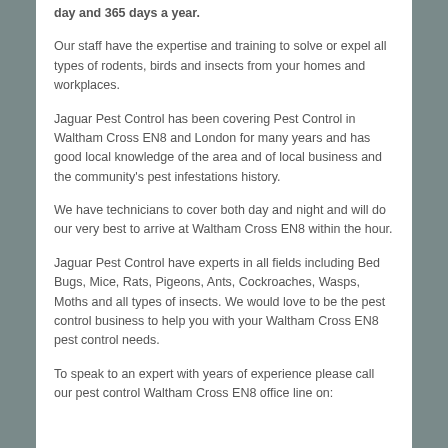day and 365 days a year.
Our staff have the expertise and training to solve or expel all types of rodents, birds and insects from your homes and workplaces.
Jaguar Pest Control has been covering Pest Control in Waltham Cross EN8 and London for many years and has good local knowledge of the area and of local business and the community's pest infestations history.
We have technicians to cover both day and night and will do our very best to arrive at Waltham Cross EN8 within the hour.
Jaguar Pest Control have experts in all fields including Bed Bugs, Mice, Rats, Pigeons, Ants, Cockroaches, Wasps, Moths and all types of insects. We would love to be the pest control business to help you with your Waltham Cross EN8 pest control needs.
To speak to an expert with years of experience please call our pest control Waltham Cross EN8 office line on: